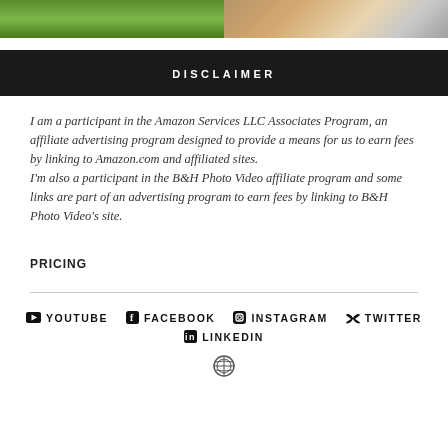[Figure (photo): Two cropped photos side by side: left shows green grass, right shows a keyboard on a wooden desk]
DISCLAIMER
I am a participant in the Amazon Services LLC Associates Program, an affiliate advertising program designed to provide a means for us to earn fees by linking to Amazon.com and affiliated sites.
I'm also a participant in the B&H Photo Video affiliate program and some links are part of an advertising program to earn fees by linking to B&H Photo Video's site.
PRICING
YOUTUBE  FACEBOOK  INSTAGRAM  TWITTER  LINKEDIN